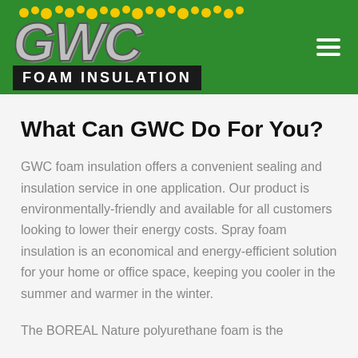[Figure (logo): GWC Foam Insulation logo on green background header with hamburger menu icon]
What Can GWC Do For You?
GWC foam insulation offers a convenient sealing and insulation service in one application. Our product is environmentally-friendly and available for all customers looking to lower their energy costs. Spray foam insulation is an economical and energy-efficient solution for your home or office space, keeping you cooler in the summer and warmer in the winter.
The BOREAL Nature polyurethane foam is the